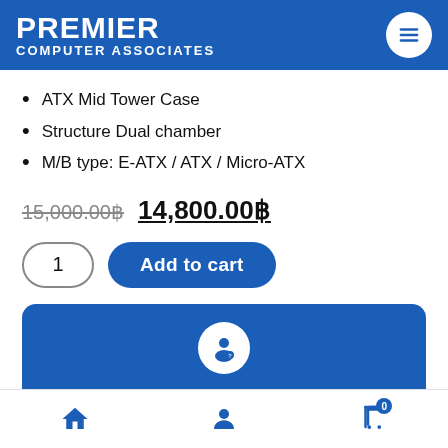PREMIER COMPUTER ASSOCIATES
ATX Mid Tower Case
Structure Dual chamber
M/B type: E-ATX / ATX / Micro-ATX
15,000.00฿  14,800.00฿
1  Add to cart
Ask Our Experts For Details
Home | Account | Cart (0)